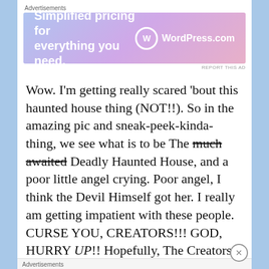[Figure (screenshot): WordPress.com advertisement banner: 'Simplified pricing for everything you need.' with WordPress.com logo on gradient blue-purple-pink background]
Wow. I'm getting really scared 'bout this haunted house thing (NOT!!). So in the amazing pic and sneak-peek-kinda-thing, we see what is to be The much awaited Deadly Haunted House, and a poor little angel crying. Poor angel, I think the Devil Himself got her. I really am getting impatient with these people. CURSE YOU, CREATORS!!! GOD, HURRY UP!! Hopefully, The Creators are gonna make a giant Halloween bash. I'm just totally excited about Halloween. Though I haven't customized my Poptropica character (Yet), I'm real excited about
Advertisements